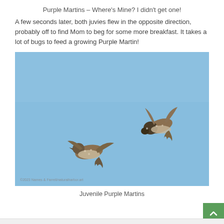Purple Martins – Where's Mine? I didn't get one!
A few seconds later, both juvies flew in the opposite direction, probably off to find Mom to beg for some more breakfast. It takes a lot of bugs to feed a growing Purple Martin!
[Figure (photo): Two juvenile Purple Martins in flight against a clear blue sky. One bird is on the left side in a gliding posture with wings spread, and one is on the upper right with wings raised upward. A watermark/copyright text is visible in the lower left corner of the photo.]
Juvenile Purple Martins